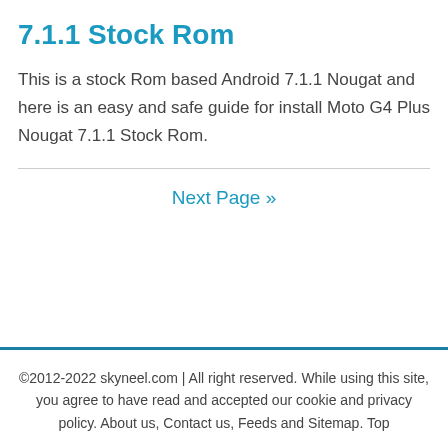7.1.1 Stock Rom
This is a stock Rom based Android 7.1.1 Nougat and here is an easy and safe guide for install Moto G4 Plus Nougat 7.1.1 Stock Rom.
Next Page »
©2012-2022 skyneel.com | All right reserved. While using this site, you agree to have read and accepted our cookie and privacy policy. About us, Contact us, Feeds and Sitemap. Top